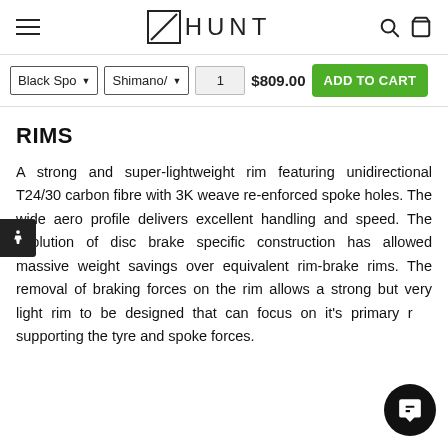HUNT — navigation bar with hamburger menu, logo, search and cart icons
Black Spo ▾  Shimano/ ▾  1  $809.00  ADD TO CART
RIMS
A strong and super-lightweight rim featuring unidirectional T24/30 carbon fibre with 3K weave re-enforced spoke holes. The wide aero profile delivers excellent handling and speed. The evolution of disc brake specific construction has allowed massive weight savings over equivalent rim-brake rims. The removal of braking forces on the rim allows a strong but very light rim to be designed that can focus on it's primary role supporting the tyre and spoke forces.